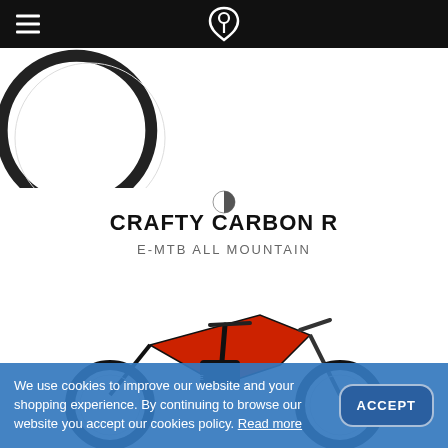Navigation bar with hamburger menu and logo
[Figure (photo): Partial view of a dark mountain bike showing front and rear wheels from above, white background]
CRAFTY CARBON R
E-MTB ALL MOUNTAIN
[Figure (photo): Red and black Haibike e-MTB mountain bike with Maxxis tires, shown on white background]
We use cookies to improve our website and your shopping experience. By continuing to browse our website you accept our cookies policy. Read more